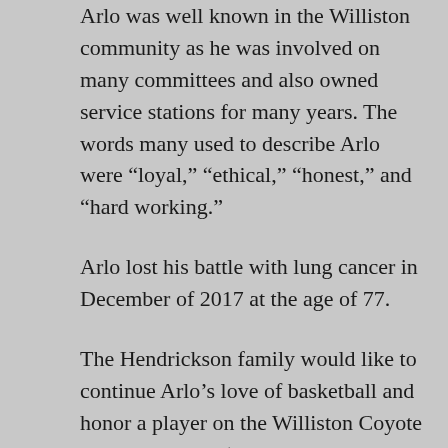Arlo was well known in the Williston community as he was involved on many committees and also owned service stations for many years. The words many used to describe Arlo were “loyal,” “ethical,” “honest,” and “hard working.”
Arlo lost his battle with lung cancer in December of 2017 at the age of 77.
The Hendrickson family would like to continue Arlo’s love of basketball and honor a player on the Williston Coyote basketball team (or another Coyote athlete) with a scholarship in the amount of $500. The recipient will be chosen by the family and the Coyote Foundation scholarship